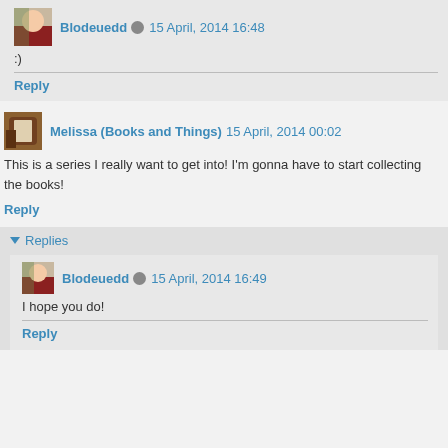Blodeuedd  15 April, 2014 16:48
:)
Reply
Melissa (Books and Things)  15 April, 2014 00:02
This is a series I really want to get into! I'm gonna have to start collecting the books!
Reply
Replies
Blodeuedd  15 April, 2014 16:49
I hope you do!
Reply